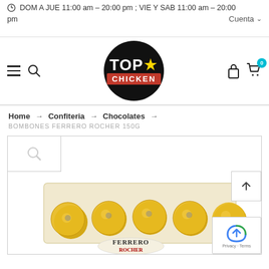DOM A JUE 11:00 am – 20:00 pm ; VIE Y SAB 11:00 am – 20:00 pm    Cuenta
[Figure (logo): Top Chicken logo: black circle with TOP and a yellow star above CHICKEN in red banner]
Home → Confiteria → Chocolates →
BOMBONES FERRERO ROCHER 150G
[Figure (photo): Product page showing a box of Ferrero Rocher 150g chocolates with golden foil-wrapped balls visible]